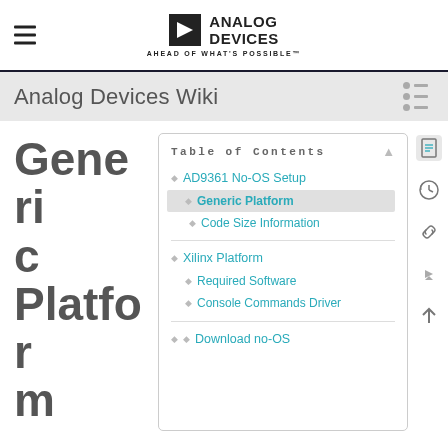Analog Devices - AHEAD OF WHAT'S POSSIBLE™
Analog Devices Wiki
Generic Platform
The AD9361 No-OS Software together with the Generic
Table of Contents
AD9361 No-OS Setup
Generic Platform
Code Size Information
Xilinx Platform
Required Software
Console Commands Driver
Download no-OS